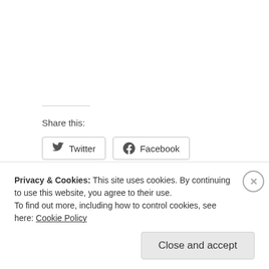Share this:
Twitter
Facebook
Loading...
Season 4
Privacy & Cookies: This site uses cookies. By continuing to use this website, you agree to their use.
To find out more, including how to control cookies, see here: Cookie Policy
Close and accept